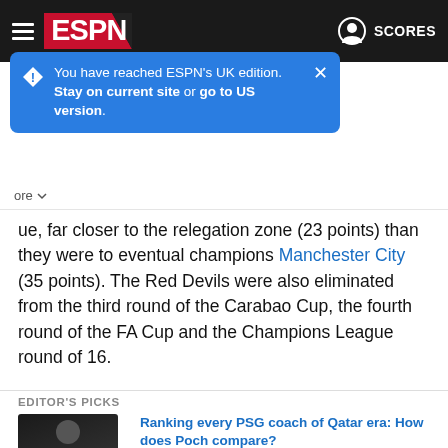ESPN — SCORES
You have reached ESPN's UK edition. Stay on current site or go to US version.
ue, far closer to the relegation zone (23 points) than they were to eventual champions Manchester City (35 points). The Red Devils were also eliminated from the third round of the Carabao Cup, the fourth round of the FA Cup and the Champions League round of 16.
EDITOR'S PICKS
[Figure (photo): Dark photo of a man in a blue jacket with arms crossed]
Ranking every PSG coach of Qatar era: How does Poch compare?
59d • Chris Wright
[Figure (photo): Green outdoor photo, person in yellow high-vis vest]
U.S., Chelsea star Christian Pulisic shares story in new book
60d • SherShah Atif